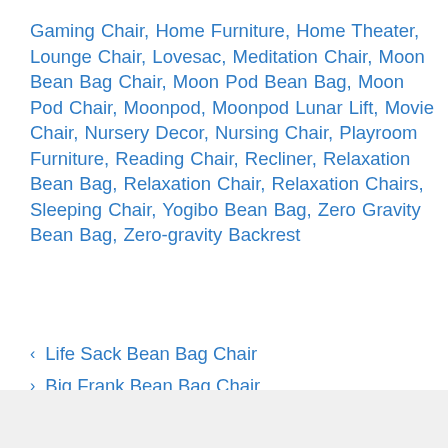Gaming Chair, Home Furniture, Home Theater, Lounge Chair, Lovesac, Meditation Chair, Moon Bean Bag Chair, Moon Pod Bean Bag, Moon Pod Chair, Moonpod, Moonpod Lunar Lift, Movie Chair, Nursery Decor, Nursing Chair, Playroom Furniture, Reading Chair, Recliner, Relaxation Bean Bag, Relaxation Chair, Relaxation Chairs, Sleeping Chair, Yogibo Bean Bag, Zero Gravity Bean Bag, Zero-gravity Backrest
< Life Sack Bean Bag Chair
> Big Frank Bean Bag Chair